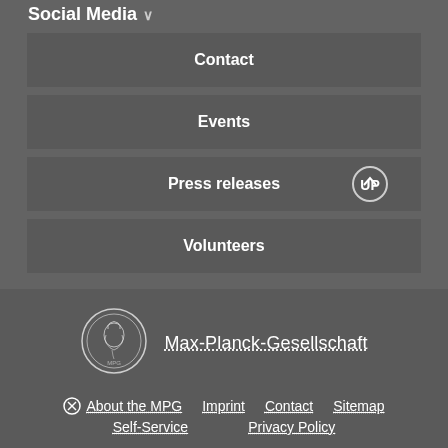Social Media
Contact
Events
Press releases
Volunteers
[Figure (logo): Max-Planck-Gesellschaft medallion logo, circular coin-style with a figure in profile]
Max-Planck-Gesellschaft
About the MPG   Imprint   Contact   Sitemap   Self-Service   Privacy Policy
© 2022, Max-Planck-Gesellschaft